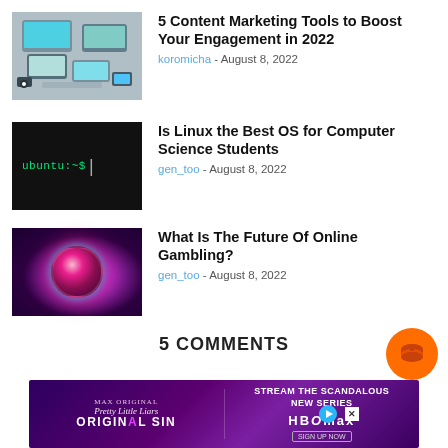[Figure (photo): Overhead view of office workspace with laptops and devices]
5 Content Marketing Tools to Boost Your Engagement in 2022
koromicha - August 8, 2022
[Figure (screenshot): Linux terminal showing ubuntu:~$ prompt on black background]
Is Linux the Best OS for Computer Science Students
gen_too - August 8, 2022
[Figure (photo): Close-up of camera lens with purple/pink neon lighting]
What Is The Future Of Online Gambling?
gen_too - August 8, 2022
5 COMMENTS
[Figure (other): Advertisement banner for Pretty Little Liars Original Sin on HBO Max - Stream the Scandalous New Series]